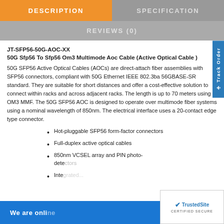DESCRIPTION | SPECIFICATION | REVIEWS (0)
JT-SFP56-50G-AOC-XX
50G Sfp56 To Sfp56 Om3 Multimode Aoc Cable (Active Optical Cable )
50G SFP56 Active Optical Cables (AOCs) are direct-attach fiber assemblies with SFP56 connectors, compliant with 50G Ethernet IEEE 802.3ba 56GBASE-SR standard. They are suitable for short distances and offer a cost-effective solution to connect within racks and across adjacent racks. The length is up to 70 meters using OM3 MMF. The 50G SFP56 AOC is designed to operate over multimode fiber systems using a nominal wavelength of 850nm. The electrical interface uses a 20-contact edge type connector.
Hot-pluggable SFP56 form-factor connectors
Full-duplex active optical cables
850nm VCSEL array and PIN photo-detectors
Inte...